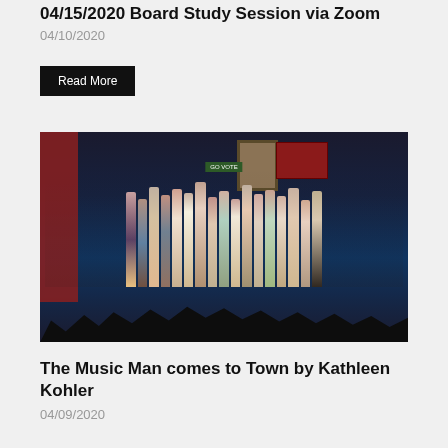04/15/2020 Board Study Session via Zoom
04/10/2020
Read More
[Figure (photo): Theater stage performance showing cast members in period costumes from The Music Man production, with audience silhouettes visible in foreground and stage set elements including a green sign and decorative banner in background]
The Music Man comes to Town by Kathleen Kohler
04/09/2020
Read More